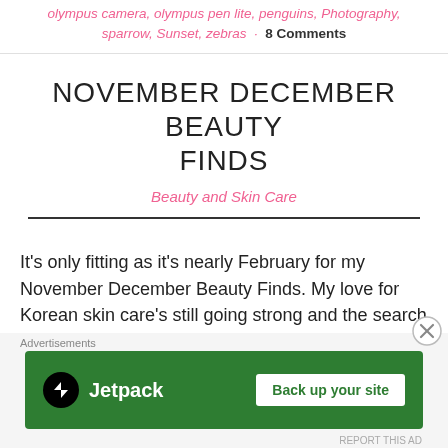olympus camera, olympus pen lite, penguins, Photography, sparrow, Sunset, zebras · 8 Comments
NOVEMBER DECEMBER BEAUTY FINDS
Beauty and Skin Care
It's only fitting as it's nearly February for my November December Beauty Finds. My love for Korean skin care's still going strong and the search for the 'perfect' cruelty free mascara continues. I feel that quest is
[Figure (other): Jetpack advertisement banner with green background, Jetpack logo and 'Back up your site' button. Includes close button (X) and 'Advertisements' label.]